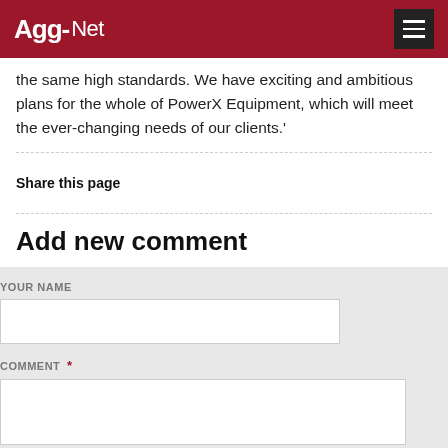Agg-Net
the same high standards. We have exciting and ambitious plans for the whole of PowerX Equipment, which will meet the ever-changing needs of our clients.'
Share this page
Add new comment
YOUR NAME
COMMENT *